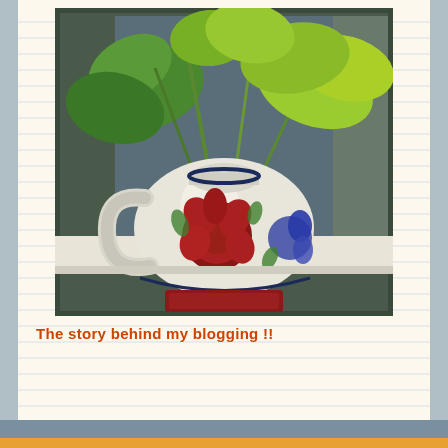[Figure (photo): A decorative ceramic pitcher/jug with hand-painted floral designs (red rose and blue flower motifs), sitting on a dark red coaster/mat on a windowsill. The pitcher contains a green pothos or similar climbing plant. The window behind shows a dark/blurred outdoor scene.]
The story behind my blogging !!